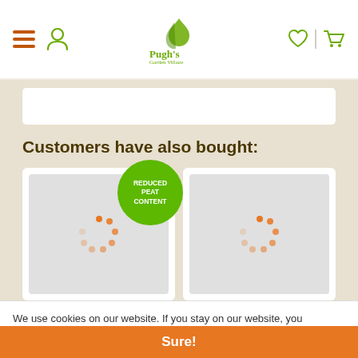Pugh's Garden Village - header with navigation icons
Customers have also bought:
[Figure (photo): Product card 1 with loading spinner and 'REDUCED PEAT CONTENT' green badge]
[Figure (photo): Product card 2 with loading spinner]
We use cookies on our website. If you stay on our website, you automatically agree to its use. View the privacy statement for more information. More info
Sure!